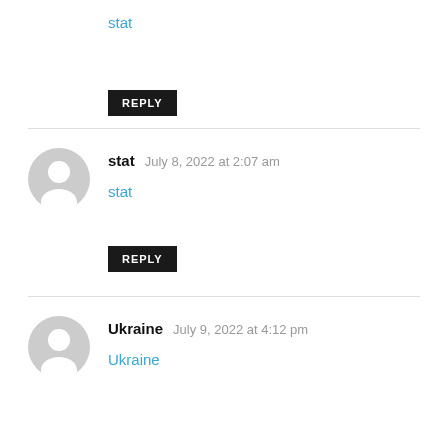stat
REPLY
stat  July 8, 2022 at 2:07 am
stat
REPLY
Ukraine  July 9, 2022 at 4:12 pm
Ukraine